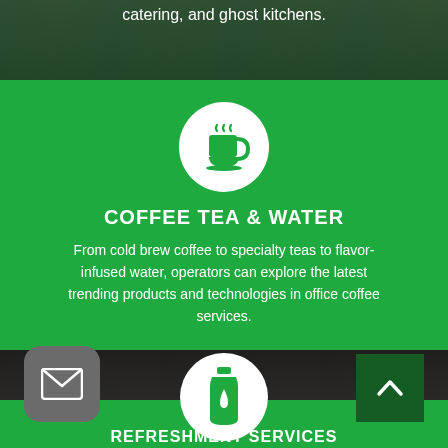catering, and ghost kitchens.
[Figure (illustration): White circle icon with green coffee cup with steam on green background]
COFFEE TEA & WATER
From cold brew coffee to specialty teas to flavor-infused water, operators can explore the latest trending products and technologies in office coffee services.
[Figure (photo): People in a venue/exhibition hall, mid-section partial view]
[Figure (illustration): White circle icon with green water bottle on green background]
REFRESHMENT SERVICES
[Figure (illustration): Email envelope icon button (grey rounded square)]
[Figure (illustration): Scroll to top arrow button (dark green square)]